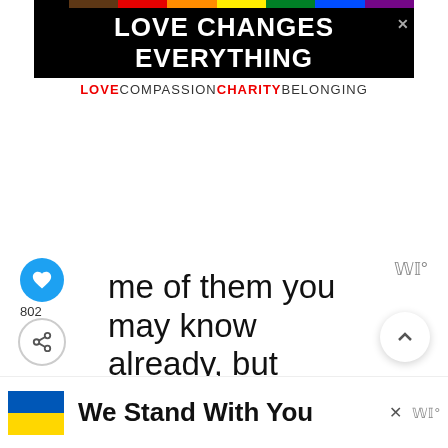[Figure (screenshot): Screenshot of a web page showing a banner ad 'LOVE CHANGES EVERYTHING' with rainbow colors, UI elements including heart and share buttons, body text about social media accounts worth following, a 'WHAT'S NEXT' promo for 'New MyWW Plan: Blue,...', a bottom ad 'We Stand With You' with Ukraine flag colors, and various interface buttons.]
LOVE CHANGES EVERYTHING
LOVE COMPASSION CHARITY BELONGING
802
me of them you may know already, but others may be new but are definitely worth following.
WHAT'S NEXT → New MyWW Plan: Blue,...
We Stand With You